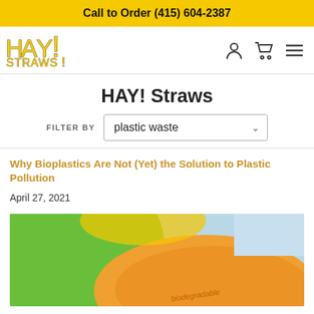Call to Order (415) 604-2387
[Figure (logo): HAY! Straws logo with yellow text and exclamation marks]
HAY! Straws
FILTER BY: plastic waste
Why Bioplastics Are Not (Yet) the Solution to Plastic Pollution
April 27, 2021
[Figure (photo): Close-up photo of colorful bioplastic containers (green, yellow, orange) with 'biodegradable' text visible on one]